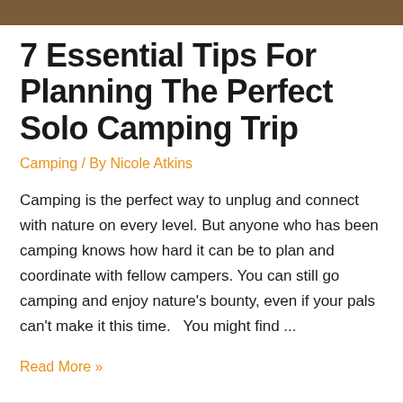[Figure (photo): Cropped outdoor/nature photo strip at top of page, showing brown soil or earth tones]
7 Essential Tips For Planning The Perfect Solo Camping Trip
Camping / By Nicole Atkins
Camping is the perfect way to unplug and connect with nature on every level. But anyone who has been camping knows how hard it can be to plan and coordinate with fellow campers. You can still go camping and enjoy nature's bounty, even if your pals can't make it this time.   You might find ...
Read More »